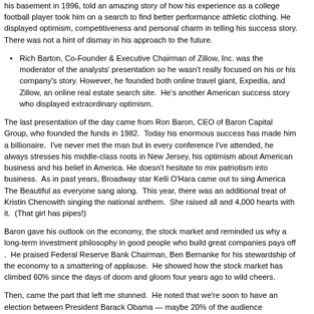his basement in 1996, told an amazing story of how his experience as a college football player took him on a search to find better performance athletic clothing. He displayed optimism, competitiveness and personal charm in telling his success story. There was not a hint of dismay in his approach to the future.
Rich Barton, Co-Founder & Executive Chairman of Zillow, Inc. was the moderator of the analysts' presentation so he wasn't really focused on his or his company's story. However, he founded both online travel giant, Expedia, and Zillow, an online real estate search site.  He's another American success story who displayed extraordinary optimism.
The last presentation of the day came from Ron Baron, CEO of Baron Capital Group, who founded the funds in 1982.  Today his enormous success has made him a billionaire.  I've never met the man but in every conference I've attended, he always stresses his middle-class roots in New Jersey, his optimism about American business and his belief in America. He doesn't hesitate to mix patriotism into business.  As in past years, Broadway star Kelli O'Hara came out to sing America The Beautiful as everyone sang along.  This year, there was an additional treat of Kristin Chenowith singing the national anthem.  She raised all and 4,000 hearts with it.  (That girl has pipes!)
Baron gave his outlook on the economy, the stock market and reminded us why a long-term investment philosophy in good people who build great companies pays off .  He praised Federal Reserve Bank Chairman, Ben Bernanke for his stewardship of the economy to a smattering of applause.  He showed how the stock market has climbed 60% since the days of doom and gloom four years ago to wild cheers.
Then, came the part that left me stunned.  He noted that we're soon to have an election between President Barack Obama — maybe 20% of the audience applauded — and